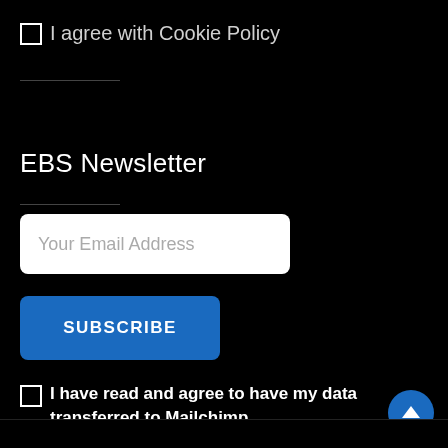I agree with Cookie Policy
EBS Newsletter
Your Email Address
SUBSCRIBE
I have read and agree to have my data transferred to Mailchimp.